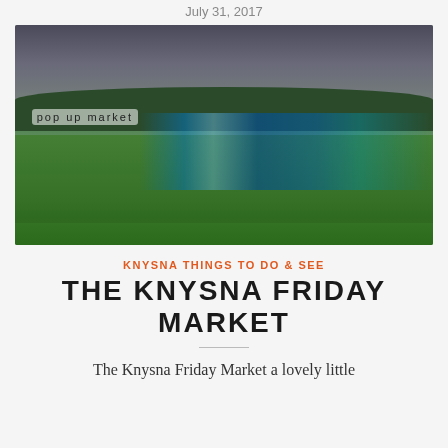July 31, 2017
[Figure (photo): Outdoor pop up market scene on a green field with colorful tents and umbrellas, people milling around, dark cloudy sky with green trees in background, banner reading 'pop up market']
KNYSNA THINGS TO DO & SEE
THE KNYSNA FRIDAY MARKET
The Knysna Friday Market a lovely little